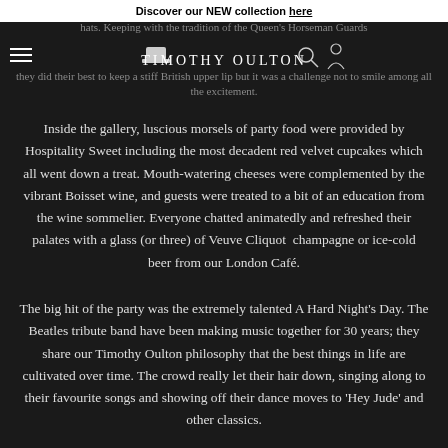Discover our NEW collection here
hats. Keeping with the tradition of the Queen's Horseman Guards they did their best to keep a stiff British upper lip but it was a challenge not to smile among all the excitement.
[Figure (logo): Timothy Oulton brand logo with top hat and gentleman silhouette icons and navigation hamburger menu]
Inside the gallery, luscious morsels of party food were provided by Hospitality Sweet including the most decadent red velvet cupcakes which all went down a treat. Mouth-watering cheeses were complemented by the vibrant Boisset wine, and guests were treated to a bit of an education from the wine sommelier. Everyone chatted animatedly and refreshed their palates with a glass (or three) of Veuve Cliquot champagne or ice-cold beer from our London Café.
The big hit of the party was the extremely talented A Hard Night's Day. The Beatles tribute band have been making music together for 30 years; they share our Timothy Oulton philosophy that the best things in life are cultivated over time. The crowd really let their hair down, singing along to their favourite songs and showing off their dance moves to 'Hey Jude' and other classics.